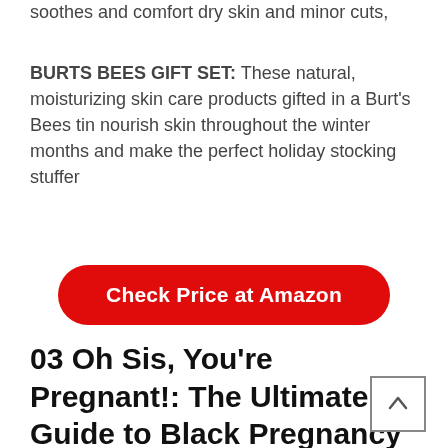soothes and comfort dry skin and minor cuts,
BURTS BEES GIFT SET: These natural, moisturizing skin care products gifted in a Burt's Bees tin nourish skin throughout the winter months and make the perfect holiday stocking stuffer
[Figure (other): Red rounded rectangle button with white text reading 'Check Price at Amazon']
03 Oh Sis, You're Pregnant!: The Ultimate Guide to Black Pregnancy & Motherhood (Gift For New Moms)